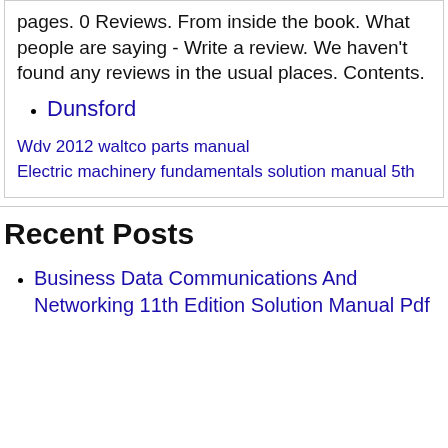pages. 0 Reviews. From inside the book. What people are saying - Write a review. We haven't found any reviews in the usual places. Contents.
Dunsford
Wdv 2012 waltco parts manual
Electric machinery fundamentals solution manual 5th
Recent Posts
Business Data Communications And Networking 11th Edition Solution Manual Pdf